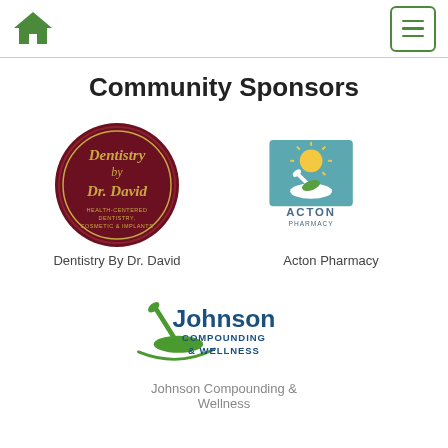Home | Menu
Community Sponsors
[Figure (logo): Dentistry By Dr. David circular dark red logo with gold script text]
Dentistry By Dr. David
[Figure (logo): Acton Pharmacy logo with mortar and pestle and sun graphic, teal square background]
Acton Pharmacy
[Figure (logo): Johnson Compounding & Wellness logo with green mortar and pestle and blue text]
Johnson Compounding & Wellness